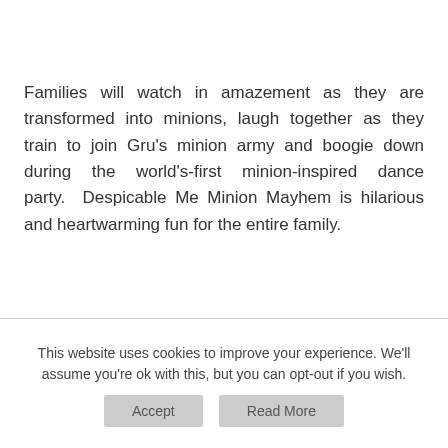Families will watch in amazement as they are transformed into minions, laugh together as they train to join Gru's minion army and boogie down during the world's-first minion-inspired dance party.  Despicable Me Minion Mayhem is hilarious and heartwarming fun for the entire family.
This website uses cookies to improve your experience. We'll assume you're ok with this, but you can opt-out if you wish.